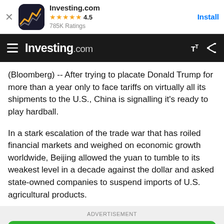[Figure (screenshot): App install banner for Investing.com with icon, star rating 4.5, 785K Ratings, and Install button]
Investing.com navigation bar with hamburger menu, logo, text size and share icons
(Bloomberg) -- After trying to placate Donald Trump for more than a year only to face tariffs on virtually all its shipments to the U.S., China is signalling it's ready to play hardball.
In a stark escalation of the trade war that has roiled financial markets and weighed on economic growth worldwide, Beijing allowed the yuan to tumble to its weakest level in a decade against the dollar and asked state-owned companies to suspend imports of U.S. agricultural products.
[Figure (screenshot): Advertisement section with green 'Start Trading' button and AD label]